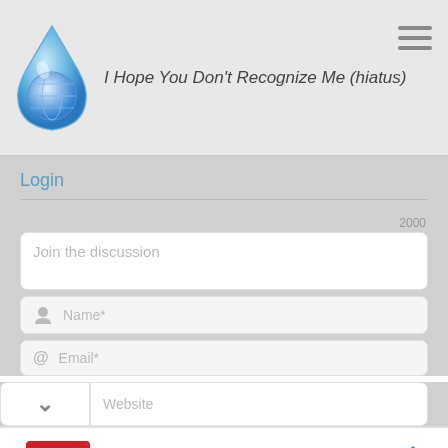I Hope You Don't Recognize Me (hiatus)
Login
2000
Join the discussion
Name*
Email*
Website
[Figure (infographic): CVS advertisement banner: CVS Pharmacy logo, 'CVS® Cold & Allergy Relief' headline, 'CVS Pharmacy' subtext in blue, navigation arrow icon]
CVS® Cold & Allergy Relief
CVS Pharmacy